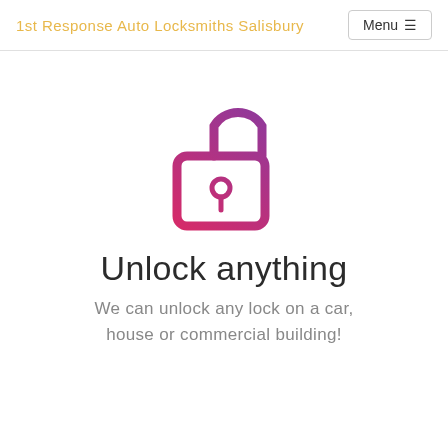1st Response Auto Locksmiths Salisbury
[Figure (illustration): An open padlock icon with a gradient stroke going from red/pink at the bottom-left to purple at the top-right. The shackle is open (rotated to the right). The lock body is a rounded rectangle with a keyhole in the center.]
Unlock anything
We can unlock any lock on a car, house or commercial building!